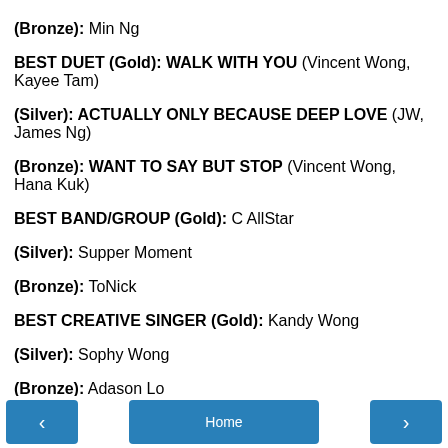(Bronze): Min Ng
BEST DUET (Gold): WALK WITH YOU (Vincent Wong, Kayee Tam)
(Silver): ACTUALLY ONLY BECAUSE DEEP LOVE (JW, James Ng)
(Bronze): WANT TO SAY BUT STOP (Vincent Wong, Hana Kuk)
BEST BAND/GROUP (Gold): C AllStar
(Silver): Supper Moment
(Bronze): ToNick
BEST CREATIVE SINGER (Gold): Kandy Wong
(Silver): Sophy Wong
(Bronze): Adason Lo
HIGHEST POPULARITY SINGER: Pakho Chau
hktopten at 12:13 PM   No comments:
Share